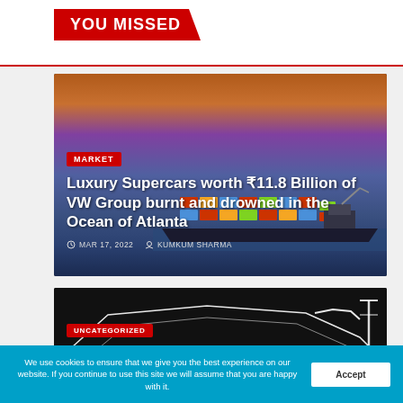YOU MISSED
[Figure (photo): Cargo ship loaded with colorful shipping containers on the ocean, dramatic sunset sky with orange and purple clouds]
MARKET
Luxury Supercars worth ₹11.8 Billion of VW Group burnt and drowned in the Ocean of Atlanta
MAR 17, 2022   KUMKUM SHARMA
[Figure (photo): Dark background with angular white LED light lines resembling a luxury sports car (Lamborghini) silhouette]
UNCATEGORIZED
We use cookies to ensure that we give you the best experience on our website. If you continue to use this site we will assume that you are happy with it.
Accept